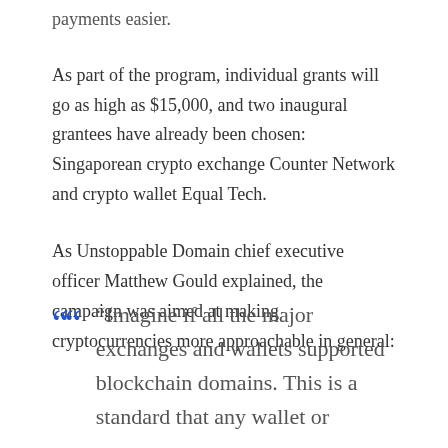payments easier.
As part of the program, individual grants will go as high as $15,000, and two inaugural grantees have already been chosen: Singaporean crypto exchange Counter Network and crypto wallet Equal Tech.
As Unstoppable Domain chief executive officer Matthew Gould explained, the campaign was aimed at making cryptocurrencies more approachable in general:
“Imagine if all the major exchanges and wallets supported blockchain domains. This is a standard that any wallet or